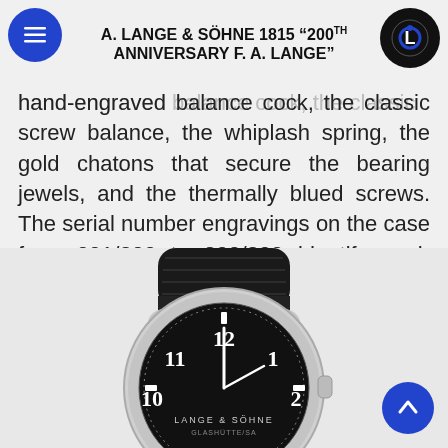A. LANGE & SÖHNE 1815 "200TH ANNIVERSARY F. A. LANGE"
hand-engraved balance cock, the classic screw balance, the whiplash spring, the gold chatons that secure the bearing jewels, and the thermally blued screws. The serial number engravings on the case from 001/200 to 200/200 identify each watch as a proud exemplar of the anniversary edition.
[Figure (photo): A. Lange & Söhne watch with black dial showing 12, 11, 1, 10, 2 numerals, LANGE & SÖHNE and GLASSHÜTTE/SA text, silver case, black leather strap with crocodile texture]